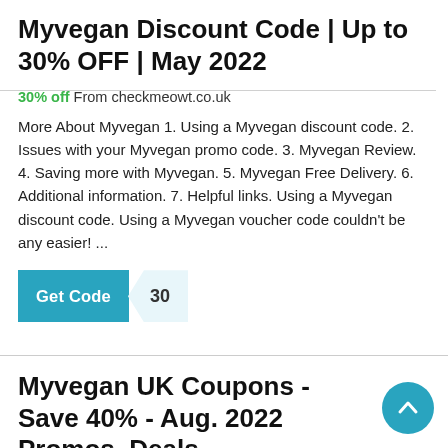Myvegan Discount Code | Up to 30% OFF | May 2022
30% off From checkmeowt.co.uk
More About Myvegan 1. Using a Myvegan discount code. 2. Issues with your Myvegan promo code. 3. Myvegan Review. 4. Saving more with Myvegan. 5. Myvegan Free Delivery. 6. Additional information. 7. Helpful links. Using a Myvegan discount code. Using a Myvegan voucher code couldn't be any easier! ...
[Figure (other): Get Code button with coupon tag showing code '30']
Myvegan UK Coupons - Save 40% - Aug. 2022 Promos, Deals
20% off From couponchief.com